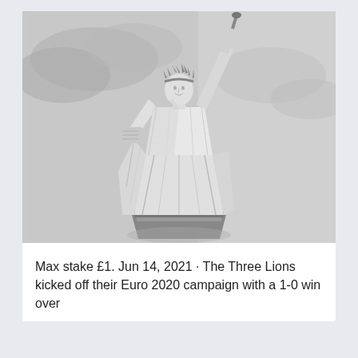[Figure (photo): Black and white photograph of the Statue of Liberty, shot from a low angle looking up, showing the statue from approximately the waist up with the torch raised. Cloudy sky in the background.]
Max stake £1. Jun 14, 2021 · The Three Lions kicked off their Euro 2020 campaign with a 1-0 win over